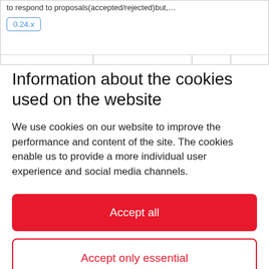to respond to proposals(accepted/rejected)but,…
0.24.x
Information about the cookies used on the website
We use cookies on our website to improve the performance and content of the site. The cookies enable us to provide a more individual user experience and social media channels.
Accept all
Accept only essential
Settings